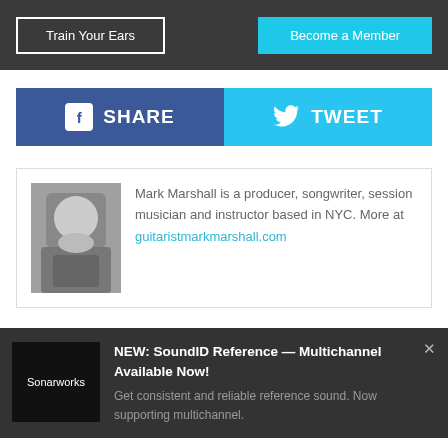[Figure (screenshot): Navigation bar with 'Train Your Ears' button (dark background, white border) and 'Become a Member' button (cyan background)]
[Figure (screenshot): Social share buttons: Facebook SHARE (blue) and Twitter TWEET (light blue)]
[Figure (screenshot): Author bio box with photo of Mark Marshall playing guitar, text description and link to guitaristmarkmarshall.com]
Mark Marshall is a producer, songwriter, session musician and instructor based in NYC. More at
guitaristmarkmarshall.com
[Figure (screenshot): Sonarworks notification bar: NEW: SoundID Reference — Multichannel Available Now! Get consistent and reliable reference sound. Now supporting multichannel.]